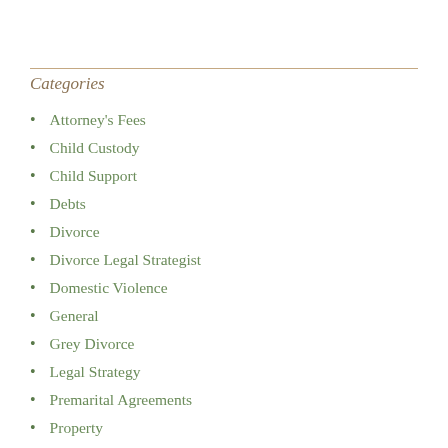Categories
Attorney's Fees
Child Custody
Child Support
Debts
Divorce
Divorce Legal Strategist
Domestic Violence
General
Grey Divorce
Legal Strategy
Premarital Agreements
Property
Resources